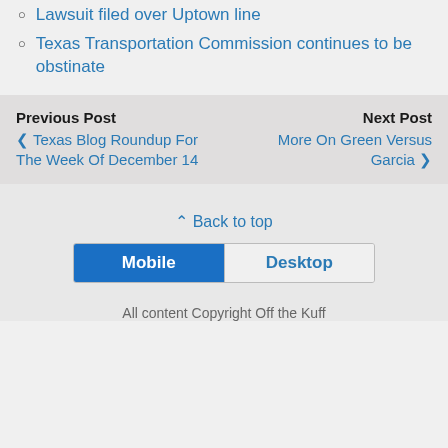Lawsuit filed over Uptown line
Texas Transportation Commission continues to be obstinate
Previous Post ❮ Texas Blog Roundup For The Week Of December 14
Next Post More On Green Versus Garcia ❯
⌃ Back to top
Mobile | Desktop
All content Copyright Off the Kuff